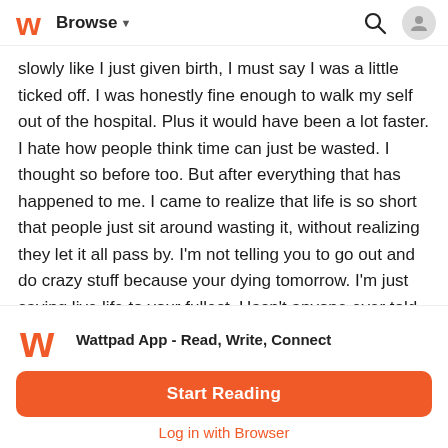Browse
slowly like I just given birth, I must say I was a little ticked off. I was honestly fine enough to walk my self out of the hospital. Plus it would have been a lot faster. I hate how people think time can just be wasted. I thought so before too. But after everything that has happened to me. I came to realize that life is so short that people just sit around wasting it, without realizing they let it all pass by. I'm not telling you to go out and do crazy stuff because your dying tomorrow. I'm just saying live life to your fullest. Hasn't anyone ever told you to do that? If not, here I am.
When I was finally out and into the car, with Jace behind the
[Figure (logo): Wattpad orange W logo]
Wattpad App - Read, Write, Connect
Start Reading
Log in with Browser